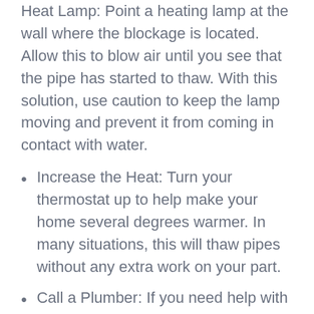Heat Lamp: Point a heating lamp at the wall where the blockage is located. Allow this to blow air until you see that the pipe has started to thaw. With this solution, use caution to keep the lamp moving and prevent it from coming in contact with water.
Increase the Heat: Turn your thermostat up to help make your home several degrees warmer. In many situations, this will thaw pipes without any extra work on your part.
Call a Plumber: If you need help with thawing enclosed pipes, contact a plumber for help. They will use their experience, training, and tools to help clear the blockage safely.
What if Your Pipe Bursts?
After turning off the main water line in your home, it's important to get the water out as